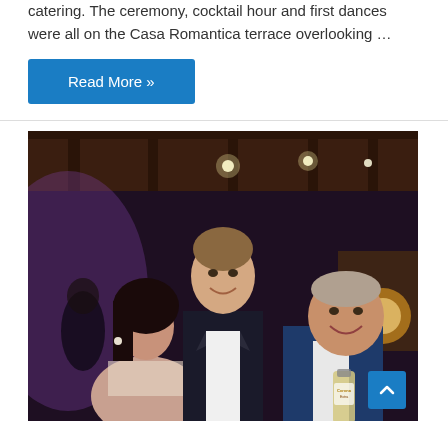catering. The ceremony, cocktail hour and first dances were all on the Casa Romantica terrace overlooking …
Read More »
[Figure (photo): Three people posing together at an indoor event venue with wood-beam ceiling and warm lighting. A young woman on the left with dark hair, a tall man in a dark suit in the center, and an older man in a blue blazer on the right holding a Corona Extra beer bottle.]